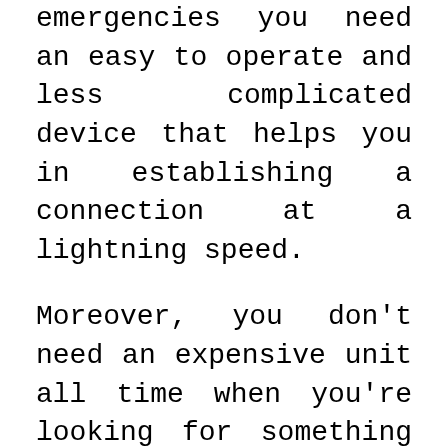emergencies you need an easy to operate and less complicated device that helps you in establishing a connection at a lightning speed.
Moreover, you don't need an expensive unit all time when you're looking for something that helps you in emergencies. Yeah, even a cheap unit could do a job that an expensive one can't do that easily. So, we'd suggest you not rely on cost in case you're thinking that your emergency radio should be an expensive one. Yeah, cost becomes a factor of consideration when you come across multiple units with the same or similar